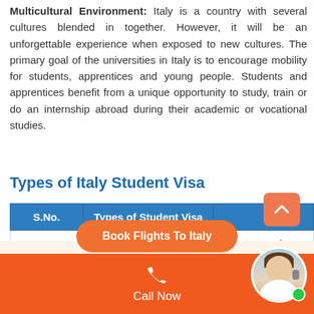Multicultural Environment: Italy is a country with several cultures blended in together. However, it will be an unforgettable experience when exposed to new cultures. The primary goal of the universities in Italy is to encourage mobility for students, apprentices and young people. Students and apprentices benefit from a unique opportunity to study, train or do an internship abroad during their academic or vocational studies.
Types of Italy Student Visa
| S.No. | Types of Student Visa |  |
| --- | --- | --- |
| 1 | C | Short-stay visa or travel v... |
| 2 | D |  |
[Figure (other): Orange scroll-to-top button with chevron icon]
[Figure (other): Book Flights To Italy orange rounded button (partially visible)]
[Figure (other): Orange footer bar with phone icon and Call Now label, plus customer service avatar with green dot]